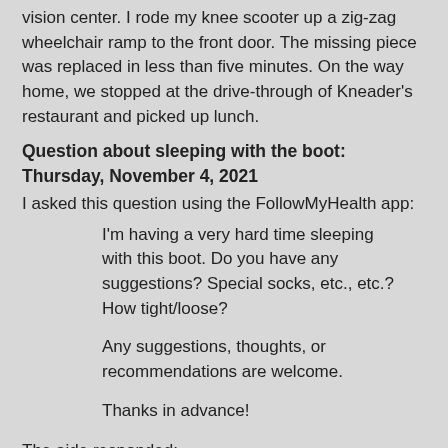vision center. I rode my knee scooter up a zig-zag wheelchair ramp to the front door. The missing piece was replaced in less than five minutes. On the way home, we stopped at the drive-through of Kneader's restaurant and picked up lunch.
Question about sleeping with the boot: Thursday, November 4, 2021
I asked this question using the FollowMyHealth app:
I'm having a very hard time sleeping with this boot. Do you have any suggestions? Special socks, etc., etc.? How tight/loose?
Any suggestions, thoughts, or recommendations are welcome.
Thanks in advance!
The aide responded:
Is it hurting you? You can try thicker socks. If it's the outside that bothers you, you can try